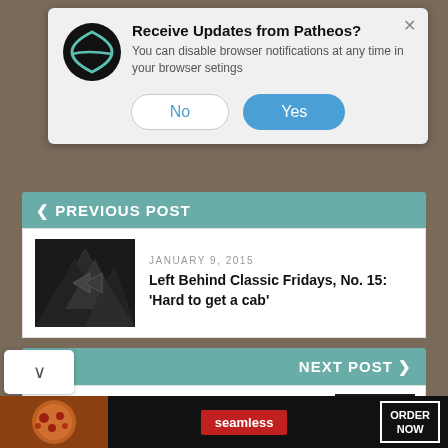[Figure (screenshot): Browser notification popup from Patheos with Patheos logo, title 'Receive Updates from Patheos?', subtitle text, and No/Yes buttons]
< PREVIOUS POST
[Figure (photo): Dark geometric triangular pattern thumbnail image]
JANUARY 9, 2015
Left Behind Classic Fridays, No. 15: 'Hard to get a cab'
NEXT POST >
JANUARY 9, 2015
yond these bars there are things you
[Figure (photo): Dark geometric triangular pattern thumbnail image for next post]
[Figure (screenshot): Seamless food delivery advertisement banner with pizza image, seamless logo, and ORDER NOW button]